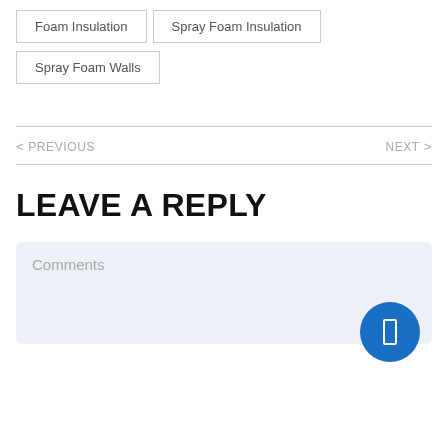Foam Insulation
Spray Foam Insulation
Spray Foam Walls
< PREVIOUS
NEXT >
LEAVE A REPLY
Comments